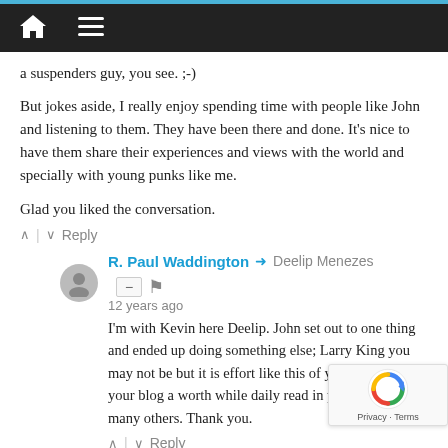Navigation bar with home and menu icons
a suspenders guy, you see. ;-)
But jokes aside, I really enjoy spending time with people like John and listening to them. They have been there and done. It's nice to have them share their experiences and views with the world and specially with young punks like me.
Glad you liked the conversation.
^ | v Reply
R. Paul Waddington → Deelip Menezes
12 years ago
I'm with Kevin here Deelip. John set out to one thing and ended up doing something else; Larry King you may not be but it is effort like this of yours that makes your blog a worth while daily read in preference to the many others. Thank you.
^ | v Reply
Dudi Peer
12 years ago